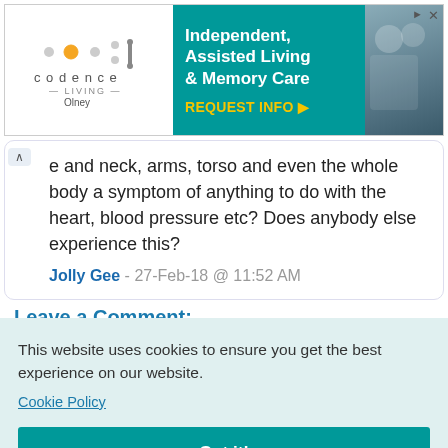[Figure (screenshot): Codence Living Olney advertisement banner for Independent, Assisted Living & Memory Care with REQUEST INFO button]
e and neck, arms, torso and even the whole body a symptom of anything to do with the heart, blood pressure etc? Does anybody else experience this?
Jolly Gee - 27-Feb-18 @ 11:52 AM
Leave a Comment:
This website uses cookies to ensure you get the best experience on our website.
Cookie Policy
Got it!